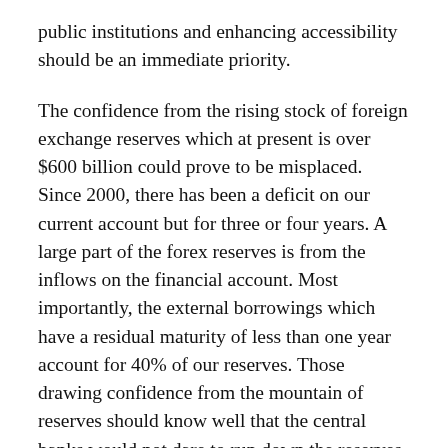public institutions and enhancing accessibility should be an immediate priority.
The confidence from the rising stock of foreign exchange reserves which at present is over $600 billion could prove to be misplaced. Since 2000, there has been a deficit on our current account but for three or four years. A large part of the forex reserves is from the inflows on the financial account. Most importantly, the external borrowings which have a residual maturity of less than one year account for 40% of our reserves. Those drawing confidence from the mountain of reserves should know well that the central banks would not dare to run down the reserves even when capital outflows occur, lest a speculative attack against the currency sets in.